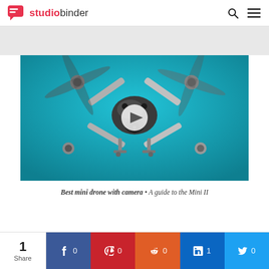studiobinder
[Figure (photo): DJI Mini 2 drone photographed from above against a teal/cyan background, showing the drone body with camera gimbal and four folding arms with propellers. A video play button overlay is visible in the center.]
Best mini drone with camera • A guide to the Mini II
1 Share | Facebook 0 | Pinterest 0 | Reddit 0 | LinkedIn 1 | Twitter 0